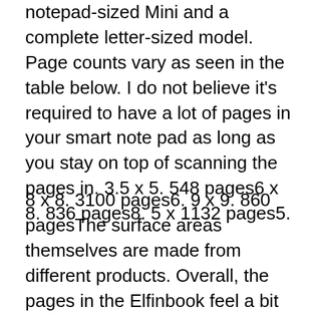notepad-sized Mini and a complete letter-sized model. Page counts vary as seen in the table below. I do not believe it's required to have a lot of pages in your smart note pad as long as you stay on top of scanning the pages in. 3.5 x 5. 548 pages6 x 8. 836 pages8. 5 x 1132 pages5.
8 x 8. 3100 pages6. 9 x 9. 860 pagesThe surface areas themselves are made from different products. Overall, the pages in the Elfinbook feel a bit better. They have less of a plastic feel, so they don't take as much getting used to. Pens do move efficiently across the surface area with either note pad.